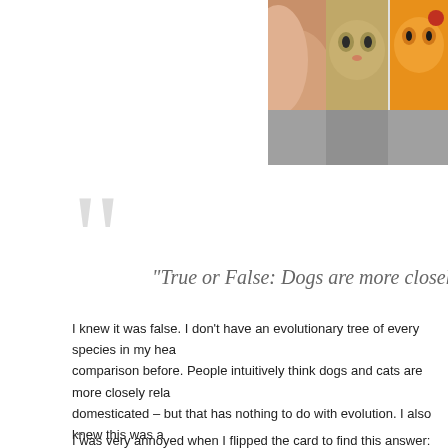[Figure (photo): Photo strip showing animal images including a cat and a reddish/orange cat, partially visible at top right of page]
“True or False: Dogs are more closely related to cats t…
I knew it was false. I don’t have an evolutionary tree of every species in my head, but I had seen this comparison before. People intuitively think dogs and cats are more closely related – because they’re both domesticated – but that has nothing to do with evolution. I also knew this was a question that the answer had been tweaked as we gained more knowledge. Very preliminary, simple studies showed dogs are more closely related to cats. But as we expanded the comparison to the whole genome, it turned out dogs are more related to bears.
I was very annoyed when I flipped the card to find this answer:
“True – The three species are all distantly related, but genomic analysis has established that bears split off from a common ancestor before dogs and cats had their big split.”
...